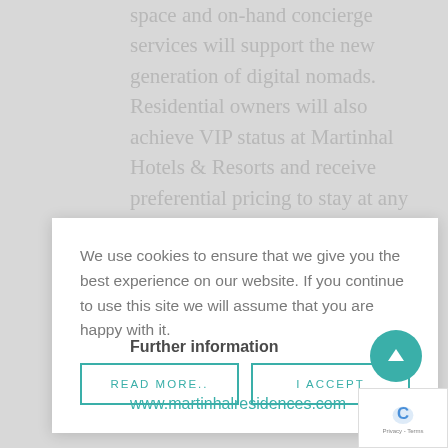space and on-hand concierge services will support the new generation of digital nomads. Residential owners will also achieve VIP status at Martinhal Hotels & Resorts and receive preferential pricing to stay at any location within
We use cookies to ensure that we give you the best experience on our website. If you continue to use this site we will assume that you are happy with it.
READ MORE..
I ACCEPT
Further information
www.martinhalresidences.com